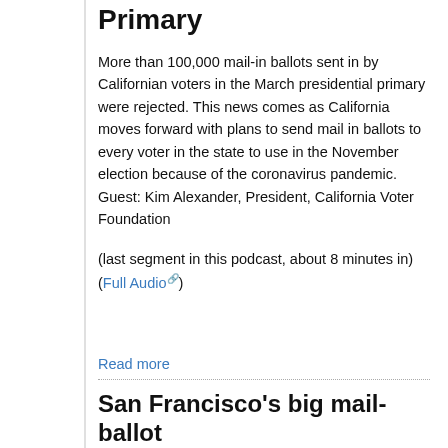Primary
More than 100,000 mail-in ballots sent in by Californian voters in the March presidential primary were rejected. This news comes as California moves forward with plans to send mail in ballots to every voter in the state to use in the November election because of the coronavirus pandemic.
Guest: Kim Alexander, President, California Voter Foundation
(last segment in this podcast, about 8 minutes in)
(Full Audio)
Read more
San Francisco’s big mail-ballot